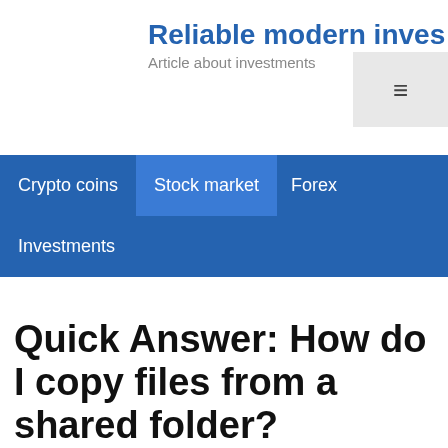Reliable modern inves
Article about investments
Crypto coins  Stock market  Forex  Investments
Quick Answer: How do I copy files from a shared folder?